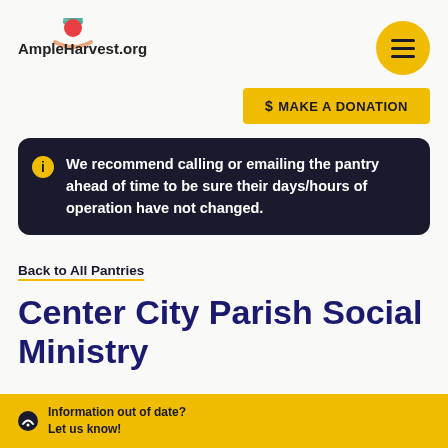[Figure (logo): AmpleHarvest.org logo with stylized tomato/leaf icon above hands]
[Figure (other): Yellow circular hamburger menu button with three horizontal lines]
$ MAKE A DONATION
We recommend calling or emailing the pantry ahead of time to be sure their days/hours of operation have not changed.
Back to All Pantries
Center City Parish Social Ministry
Information out of date? Let us know!